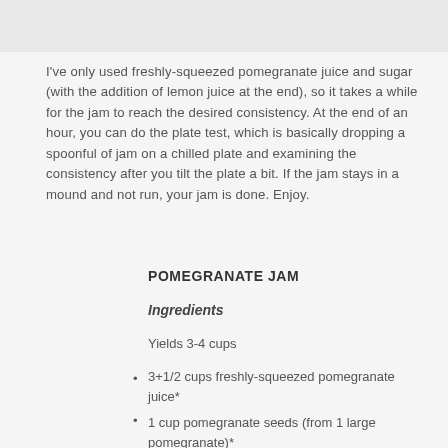[Figure (photo): Partial photo of a jar or bowl, visible at the top of the page]
I've only used freshly-squeezed pomegranate juice and sugar (with the addition of lemon juice at the end), so it takes a while for the jam to reach the desired consistency. At the end of an hour, you can do the plate test, which is basically dropping a spoonful of jam on a chilled plate and examining the consistency after you tilt the plate a bit. If the jam stays in a mound and not run, your jam is done. Enjoy.
POMEGRANATE JAM
Ingredients
Yields 3-4 cups
3+1/2 cups freshly-squeezed pomegranate juice*
1 cup pomegranate seeds (from 1 large pomegranate)*